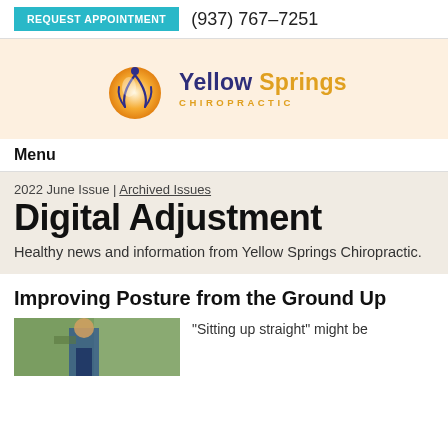REQUEST APPOINTMENT  (937) 767-7251
[Figure (logo): Yellow Springs Chiropractic logo with orange circle and blue figure, text reads 'Yellow Springs CHIROPRACTIC']
Menu
2022 June Issue | Archived Issues
Digital Adjustment
Healthy news and information from Yellow Springs Chiropractic.
Improving Posture from the Ground Up
[Figure (photo): Person outdoors in casual clothing, partial view]
“Sitting up straight” might be